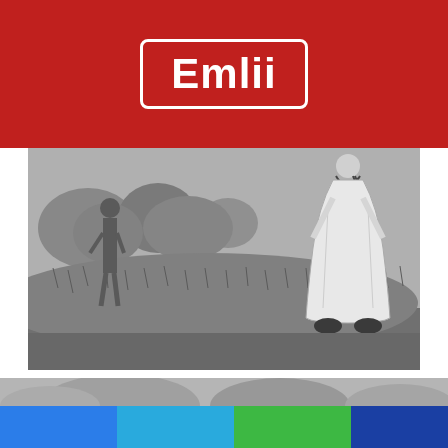Emlii
[Figure (photo): Black and white historical photograph showing a Palestinian woman in traditional long white dress and a child, standing in a grassy field, circa 1925]
12. 1925: A PALESTINIAN MOTHER IN TYPICAL DRESS HOLDING HER CHILD.
[Figure (photo): Partial view of another photograph peeking in at the bottom of the page, showing rounded shapes against a light background]
[Figure (infographic): Bottom color strip bar with blue, cyan, green, and dark blue sections]